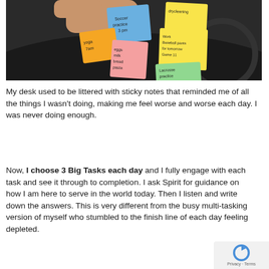[Figure (photo): Photo of a person's hand holding sticky notes on a car dashboard with handwritten reminders: Soccer practice 3pm, drycleaning, Work Baseball pants for tomorrow Game 11, yoga 7am, eggs milk bread pasta, Lacrosse practice 6pm]
My desk used to be littered with sticky notes that reminded me of all the things I wasn't doing, making me feel worse and worse each day. I was never doing enough.
Now, I choose 3 Big Tasks each day and I fully engage with each task and see it through to completion. I ask Spirit for guidance on how I am here to serve in the world today. Then I listen and write down the answers. This is very different from the busy multi-tasking version of myself who stumbled to the finish line of each day feeling depleted.